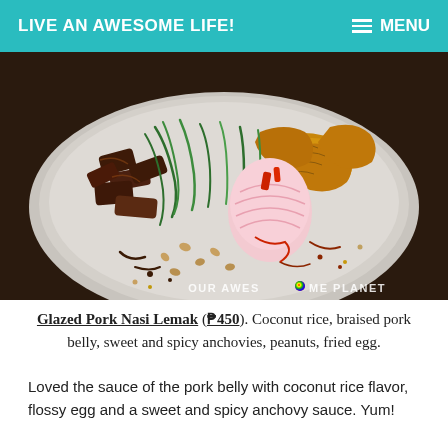LIVE AN AWESOME LIFE! MENU
[Figure (photo): A plate of Glazed Pork Nasi Lemak showing braised pork belly with green onions, fried protein pieces, a halved shallot with chili sauce, scattered peanuts and dark sauce on a ceramic plate. Watermark reads OUR AWES ME PLANET.]
Glazed Pork Nasi Lemak (₱450). Coconut rice, braised pork belly, sweet and spicy anchovies, peanuts, fried egg.
Loved the sauce of the pork belly with coconut rice flavor, flossy egg and a sweet and spicy anchovy sauce. Yum!